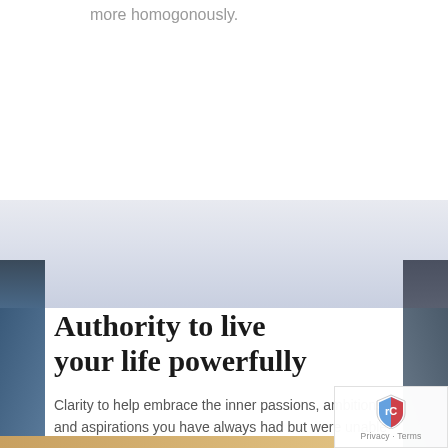more homogonously.
[Figure (illustration): Gradient background band transitioning from light grey-white to blue-grey, spanning the middle section of the page with dark blue side bars on left and right edges]
Authority to live your life powerfully
Clarity to help embrace the inner passions, ambitions and aspirations you have always had but were unable to express in life.
[Figure (logo): Google reCAPTCHA badge with blue and red shield icon and Privacy · Terms text below]